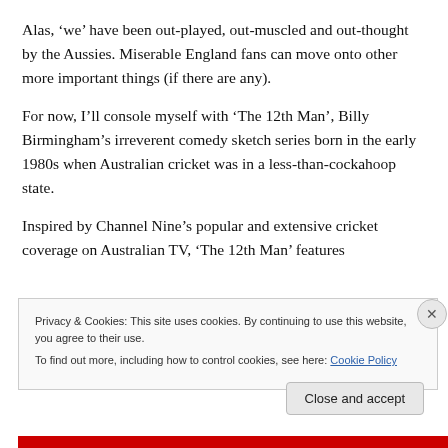Alas, ‘we’ have been out-played, out-muscled and out-thought by the Aussies. Miserable England fans can move onto other more important things (if there are any).
For now, I’ll console myself with ‘The 12th Man’, Billy Birmingham’s irreverent comedy sketch series born in the early 1980s when Australian cricket was in a less-than-cockahoop state.
Inspired by Channel Nine’s popular and extensive cricket coverage on Australian TV, ‘The 12th Man’ features
Privacy & Cookies: This site uses cookies. By continuing to use this website, you agree to their use.
To find out more, including how to control cookies, see here: Cookie Policy